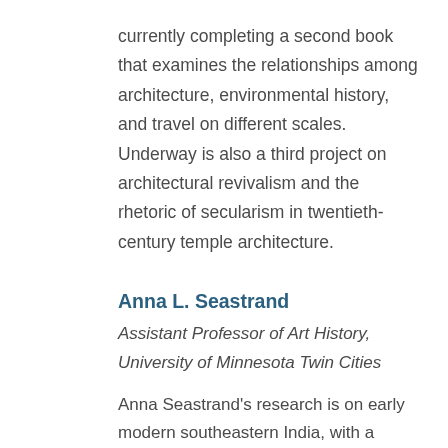currently completing a second book that examines the relationships among architecture, environmental history, and travel on different scales. Underway is also a third project on architectural revivalism and the rhetoric of secularism in twentieth-century temple architecture.
Anna L. Seastrand
Assistant Professor of Art History, University of Minnesota Twin Cities
Anna Seastrand's research is on early modern southeastern India, with a broad interest in the embodied experience of sacred space. Her works have explored the relationship between text,